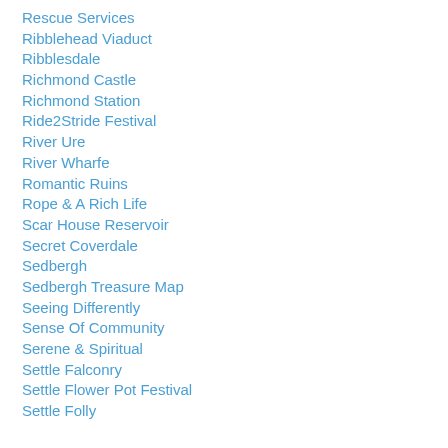Rescue Services
Ribblehead Viaduct
Ribblesdale
Richmond Castle
Richmond Station
Ride2Stride Festival
River Ure
River Wharfe
Romantic Ruins
Rope & A Rich Life
Scar House Reservoir
Secret Coverdale
Sedbergh
Sedbergh Treasure Map
Seeing Differently
Sense Of Community
Serene & Spiritual
Settle Falconry
Settle Flower Pot Festival
Settle Folly